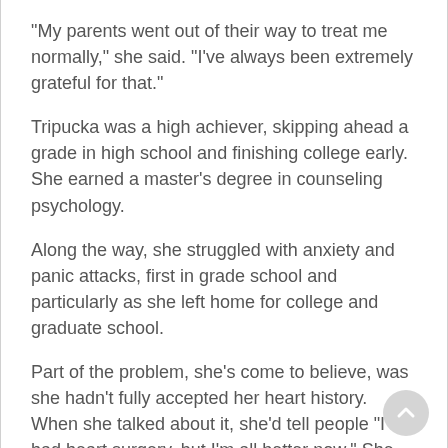"My parents went out of their way to treat me normally," she said. "I've always been extremely grateful for that."
Tripucka was a high achiever, skipping ahead a grade in high school and finishing college early. She earned a master's degree in counseling psychology.
Along the way, she struggled with anxiety and panic attacks, first in grade school and particularly as she left home for college and graduate school.
Part of the problem, she's come to believe, was she hadn't fully accepted her heart history. When she talked about it, she'd tell people "I had heart surgery, but I'm all better now." She realizes now she was trying to downplay her condition and the fact she might need another open-heart surgery at some point.
And then everything changed during a routine visit to a